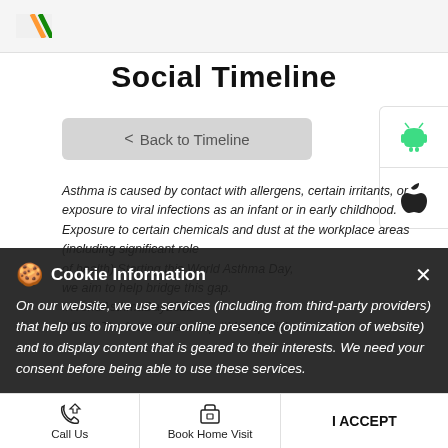Metropolis Labs header with logo and flag
Social Timeline
< Back to Timeline
[Figure (logo): Android robot icon (green)]
[Figure (logo): Apple logo icon (black)]
Asthma is caused by contact with allergens, certain irritants, or exposure to viral infections as an infant or in early childhood. Exposure to certain chemicals and dust at the workplace areas (including significant role of health) #WorldAsthmaDay2022 #CloseTheAsthmaGareGap #MetropolisLabs
Cookie Information
On our website, we use services (including from third-party providers) that help us to improve our online presence (optimization of website) and to display content that is geared to their interests. We need your consent before being able to use these services.
Call Us | Book Home Visit | Directions | I ACCEPT